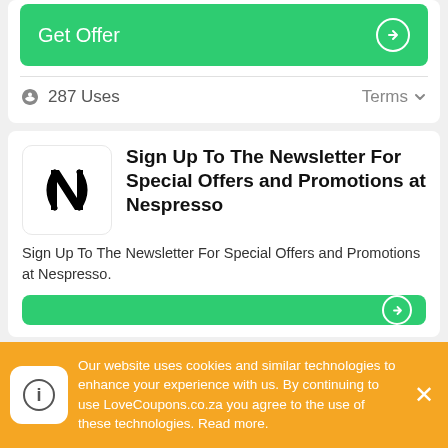[Figure (other): Green 'Get Offer' button with right arrow circle icon]
287 Uses
Terms ∨
[Figure (logo): Nespresso N logo in black on white rounded square]
Sign Up To The Newsletter For Special Offers and Promotions at Nespresso
Sign Up To The Newsletter For Special Offers and Promotions at Nespresso.
Our website uses cookies and similar technologies to enhance your experience with us. By continuing to use LoveCoupons.co.za you agree to the use of these technologies. Read more.